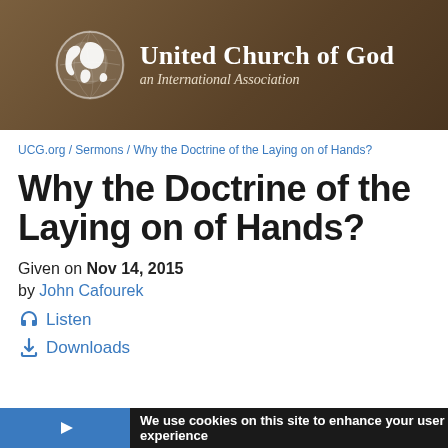[Figure (logo): United Church of God logo with globe icon and text 'United Church of God an International Association' on brown/tan background]
UCG.org / Sermons / Why the Doctrine of the Laying on of Hands?
Why the Doctrine of the Laying on of Hands?
Given on Nov 14, 2015
by John Cafourek
Listen
Downloads
We use cookies on this site to enhance your user experience